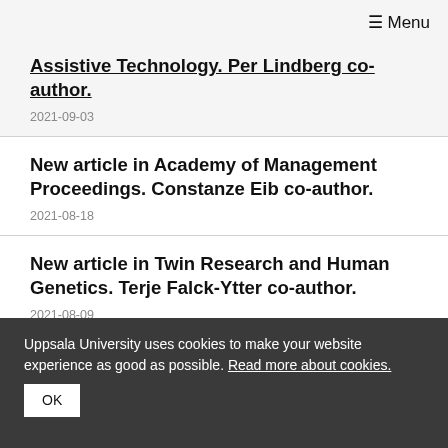≡ Menu
Assistive Technology. Per Lindberg co-author.
2021-09-03
New article in Academy of Management Proceedings. Constanze Eib co-author.
2021-08-18
New article in Twin Research and Human Genetics. Terje Falck-Ytter co-author.
2021-08-09
Uppsala University uses cookies to make your website experience as good as possible. Read more about cookies.